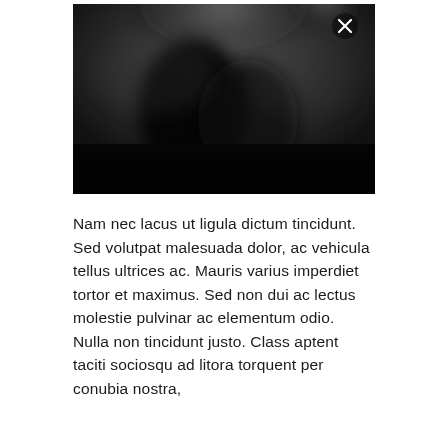[Figure (photo): Dark, moody black and white photograph showing an indistinct shadowy scene with soft light in the upper portion. An 'X' close button appears in the upper right corner of the image.]
Nam nec lacus ut ligula dictum tincidunt. Sed volutpat malesuada dolor, ac vehicula tellus ultrices ac. Mauris varius imperdiet tortor et maximus. Sed non dui ac lectus molestie pulvinar ac elementum odio. Nulla non tincidunt justo. Class aptent taciti sociosqu ad litora torquent per conubia nostra, per inceptos himenaeos.